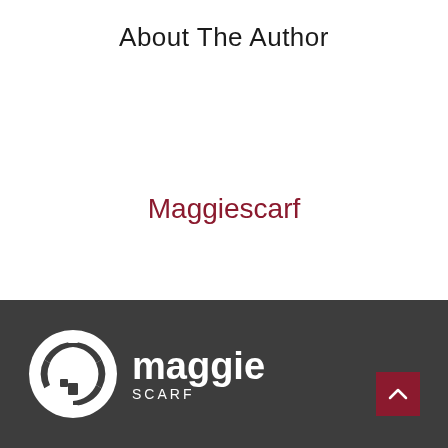About The Author
Maggiescarf
[Figure (logo): Maggie Scarf logo with circular arrows and house icon, white on dark gray background, with text 'maggie SCARF']